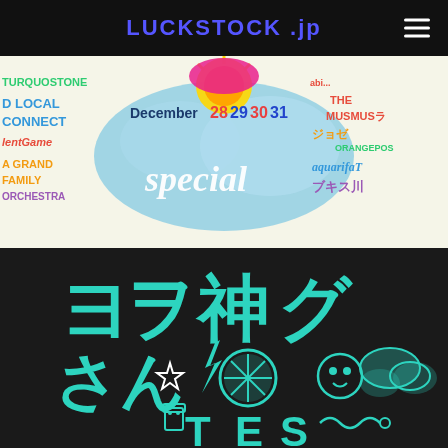LUCKSTOCK .jp
[Figure (illustration): Colorful event poster banner with handwritten typography listing band names and dates December 28 29 30 31, with 'special' in large script lettering. Band names include: TURQUOISE, D LOCAL CONNECT, lentGame, A GRAND FAMILY ORCHESTRA, THE MUSMUS, ジョゼ, ORANGEPOST, aquarifata, ブキス. White background with colorful lettering in green, blue, red, yellow, orange.]
[Figure (illustration): Dark background illustration with large teal/cyan Japanese katakana text (ヨヲ神グさんTES) with cartoon doodle elements including a citrus slice, lightning bolt, star, faces, clouds, and robot-like figures in teal and white line art style.]